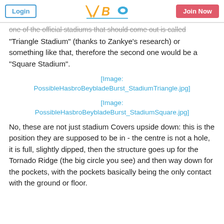Login | WBO logo | Join Now
one of the official stadiums that should come out is called "Triangle Stadium" (thanks to Zankye's research) or something like that, therefore the second one would be a "Square Stadium".
[Figure (other): [Image: PossibleHasbroBeybladeBurst_StadiumTriangle.jpg]]
[Figure (other): [Image: PossibleHasbroBeybladeBurst_StadiumSquare.jpg]]
No, these are not just stadium Covers upside down: this is the position they are supposed to be in - the centre is not a hole, it is full, slightly dipped, then the structure goes up for the Tornado Ridge (the big circle you see) and then way down for the pockets, with the pockets basically being the only contact with the ground or floor.